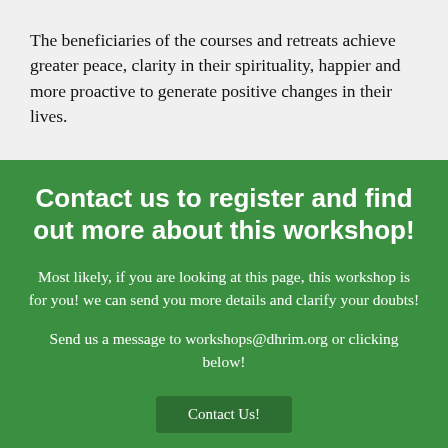The beneficiaries of the courses and retreats achieve greater peace, clarity in their spirituality, happier and more proactive to generate positive changes in their lives.
Contact us to register and find out more about this workshop!
Most likely, if you are looking at this page, this workshop is for you! we can send you more details and clarify your doubts!
Send us a message to workshops@dhrim.org or clicking below!
Contact Us!